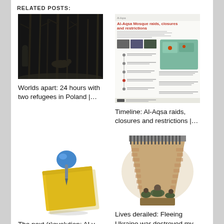RELATED POSTS:
[Figure (photo): Dark forest refugee photo scene at night]
Worlds apart: 24 hours with two refugees in Poland |…
[Figure (infographic): Al-Aqsa Mosque raids, closures and restrictions timeline infographic]
Timeline: Al-Aqsa raids, closures and restrictions |…
[Figure (illustration): Blue thumbtack pinned into a yellow sticky note]
The next (r)evolution: AI v human intelligence | Technology
[Figure (illustration): Illustration of figures in a brick tunnel or trench]
Lives derailed: Fleeing Ukraine war destroyed my father's…